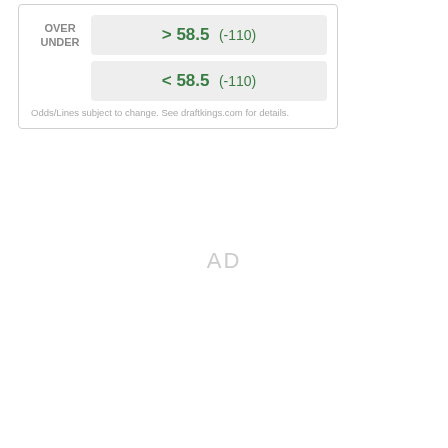|  | Bet |
| --- | --- |
| OVER
UNDER | > 58.5  (-110) |
|  | < 58.5  (-110) |
Odds/Lines subject to change. See draftkings.com for details.
AD